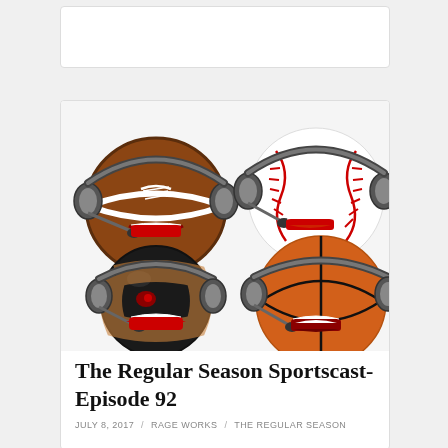[Figure (illustration): Cartoon illustration of four sports balls (football, baseball, bowling ball, basketball) each wearing broadcast headsets with microphones, depicted as sportscasters with expressive faces.]
The Regular Season Sportscast- Episode 92
JULY 8, 2017 / RAGE WORKS / THE REGULAR SEASON